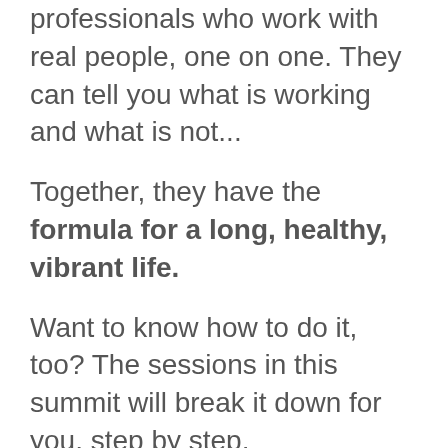professionals who work with real people, one on one. They can tell you what is working and what is not...
Together, they have the formula for a long, healthy, vibrant life.
Want to know how to do it, too? The sessions in this summit will break it down for you, step by step.